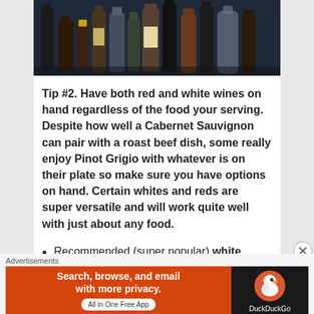[Figure (photo): Photo of multiple wine and liquor bottles on a shelf in dim lighting, viewed from slightly below]
Tip #2. Have both red and white wines on hand regardless of the food your serving.  Despite how well a Cabernet Sauvignon can pair with a roast beef dish, some really enjoy Pinot Grigio with whatever is on their plate so make sure you have options on hand.  Certain whites and reds are super versatile and will work quite well with just about any food.
Recommended (super popular) white wines:
Advertisements
[Figure (screenshot): DuckDuckGo advertisement banner: 'Search, browse, and email with more privacy. All in One Free App' with DuckDuckGo duck logo on dark background]